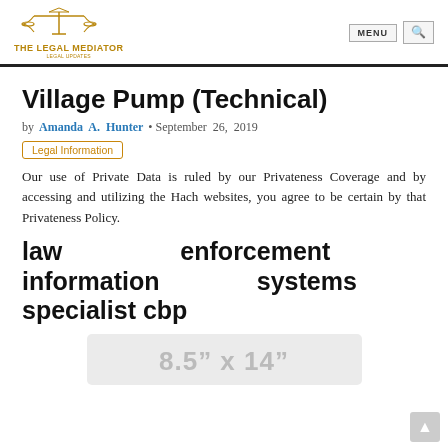THE LEGAL MEDIATOR
Village Pump (Technical)
by Amanda A. Hunter • September 26, 2019
Legal Information
Our use of Private Data is ruled by our Privateness Coverage and by accessing and utilizing the Hach websites, you agree to be certain by that Privateness Policy.
law enforcement information systems specialist cbp
[Figure (other): Preview box showing document size: 8.5" x 14"]